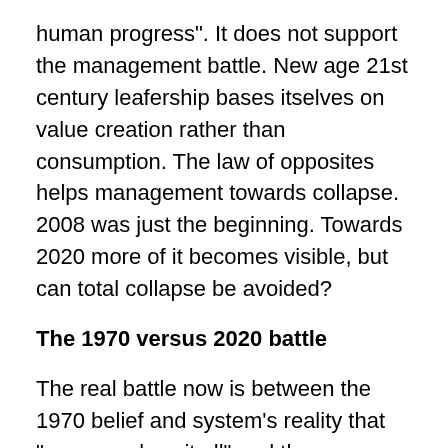human progress". It does not support the management battle. New age 21st century leafership bases itself on value creation rather than consumption. The law of opposites helps management towards collapse. 2008 was just the beginning. Towards 2020 more of it becomes visible, but can total collapse be avoided?
The 1970 versus 2020 battle
The real battle now is between the 1970 belief and system’s reality that “money solves it all” and the new 2000 leadership belief that “sustainable value is created together”. The latter is based on feeding our awareness with the need to transform the system’s complexity and performance. In history we see that collapse has never been avoided due to the powerful resistance of management forces. The biggest question is now: “Does